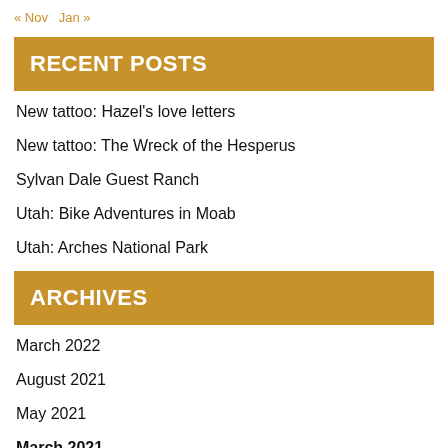« Nov   Jan »
RECENT POSTS
New tattoo: Hazel's love letters
New tattoo: The Wreck of the Hesperus
Sylvan Dale Guest Ranch
Utah: Bike Adventures in Moab
Utah: Arches National Park
ARCHIVES
March 2022
August 2021
May 2021
March 2021